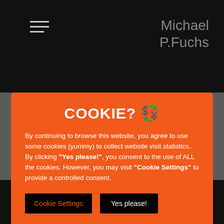Michael P.Fuchs
COOKIE? 🍪
By continuing to browse this website, you agree to use some cookies (yummy) to collect website visit statistics.. By clicking "Yes please!", you consent to the use of ALL the cookies. However, you may visit "Cookie Settings" to provide a controlled consent.
Cookie Settings  Yes please!
more to explore